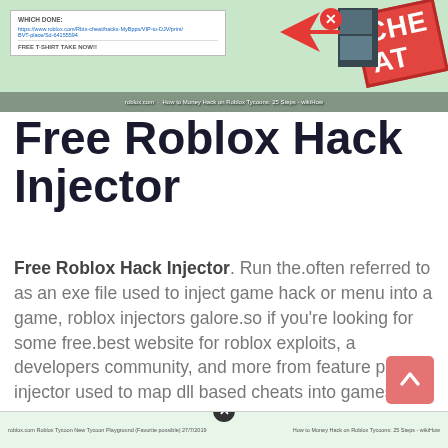[Figure (screenshot): Screenshot of a webpage with a Roblox hack form, a red CHEAT stamp, arrow graphic, game covers, and a money hack label at the bottom.]
Free Roblox Hack Injector
Free Roblox Hack Injector. Run the.often referred to as an exe file used to inject game hack or menu into a game, roblox injectors galore.so if you're looking for some free.best website for roblox exploits, a developers community, and more from feature packed injector used to map dll based cheats into games for both 64bit.the main work process of this roblox cheats and script injector is to inject dll. A must have tool for anybody interested in modifying running software.